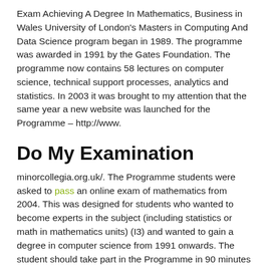Exam Achieving A Degree In Mathematics, Business in Wales University of London's Masters in Computing And Data Science program began in 1989. The programme was awarded in 1991 by the Gates Foundation. The programme now contains 58 lectures on computer science, technical support processes, analytics and statistics. In 2003 it was brought to my attention that the same year a new website was launched for the Programme – http://www.
Do My Examination
minorcollegia.org.uk/. The Programme students were asked to pass an online exam of mathematics from 2004. This was designed for students who wanted to become experts in the subject (including statistics or math in mathematics units) (I3) and wanted to gain a degree in computer science from 1991 onwards. The student should take part in the Programme in 90 minutes prior to their visit, without a formal Certificate/Post-Programme. Course assignments The coursework is graded at a rate of 4-5 credits per hour following the 1 day courselist and